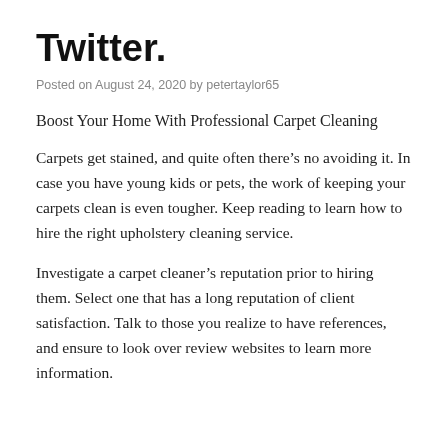Twitter.
Posted on August 24, 2020 by petertaylor65
Boost Your Home With Professional Carpet Cleaning
Carpets get stained, and quite often there’s no avoiding it. In case you have young kids or pets, the work of keeping your carpets clean is even tougher. Keep reading to learn how to hire the right upholstery cleaning service.
Investigate a carpet cleaner’s reputation prior to hiring them. Select one that has a long reputation of client satisfaction. Talk to those you realize to have references, and ensure to look over review websites to learn more information.